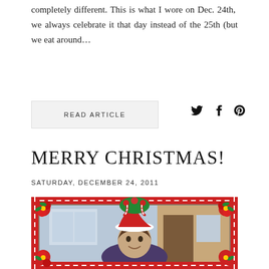completely different. This is what I wore on Dec. 24th, we always celebrate it that day instead of the 25th (but we eat around...
READ ARTICLE
MERRY CHRISTMAS!
SATURDAY, DECEMBER 24, 2011
[Figure (photo): Person wearing a Santa hat with a Christmas-decorated frame around the photo featuring candy canes, poinsettias, and festive decorations]